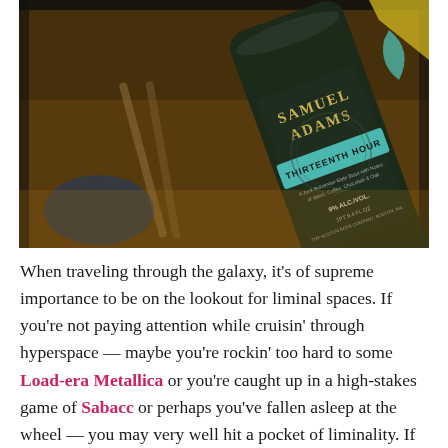[Figure (photo): Close-up photograph of a Samuel Adams Thirteenth Hour beer bottle with a dark label featuring teal accents. The label reads 'Samuel Adams', 'Thirteenth Hour', '9% ALC./VOL.', '1PT 9.4 FL OZ', 'The Boston Beer Company, Boston, MA'. The bottle is shown at an angle against a warm wooden background.]
When traveling through the galaxy, it's of supreme importance to be on the lookout for liminal spaces. If you're not paying attention while cruisin' through hyperspace — maybe you're rockin' too hard to some Load-era Metallica or you're caught up in a high-stakes game of Sabacc or perhaps you've fallen asleep at the wheel — you may very well hit a pocket of liminality. If this happens, chances're that you're going to be